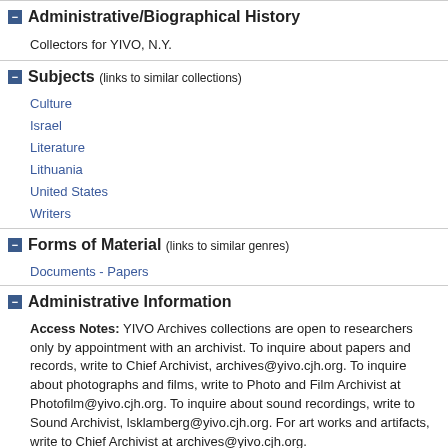Administrative/Biographical History
Collectors for YIVO, N.Y.
Subjects (links to similar collections)
Culture
Israel
Literature
Lithuania
United States
Writers
Forms of Material (links to similar genres)
Documents - Papers
Administrative Information
Access Notes: YIVO Archives collections are open to researchers only by appointment with an archivist. To inquire about papers and records, write to Chief Archivist, archives@yivo.cjh.org. To inquire about photographs and films, write to Photo and Film Archivist at Photofilm@yivo.cjh.org. To inquire about sound recordings, write to Sound Archivist, lsklamberg@yivo.cjh.org. For art works and artifacts, write to Chief Archivist at archives@yivo.cjh.org.
Rights: YIVO owns the compilation of content that is posted on this website, which consists of text, images, and/or audio, and video.